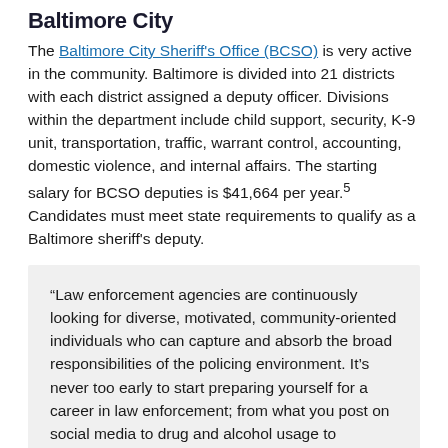Baltimore City
The Baltimore City Sheriff's Office (BCSO) is very active in the community. Baltimore is divided into 21 districts with each district assigned a deputy officer. Divisions within the department include child support, security, K-9 unit, transportation, traffic, warrant control, accounting, domestic violence, and internal affairs. The starting salary for BCSO deputies is $41,664 per year.5 Candidates must meet state requirements to qualify as a Baltimore sheriff's deputy.
“Law enforcement agencies are continuously looking for diverse, motivated, community-oriented individuals who can capture and absorb the broad responsibilities of the policing environment. It’s never too early to start preparing yourself for a career in law enforcement; from what you post on social media to drug and alcohol usage to employment and education history, be